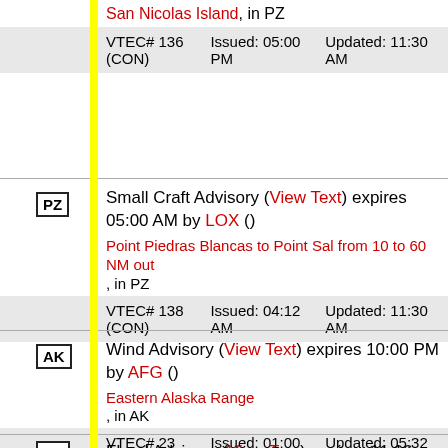San Nicolas Island, in PZ
| VTEC# | Issued | Updated |
| --- | --- | --- |
| VTEC# 136 (CON) | Issued: 05:00 PM | Updated: 11:30 AM |
Small Craft Advisory (View Text) expires 05:00 AM by LOX ()
Point Piedras Blancas to Point Sal from 10 to 60 NM out, in PZ
| VTEC# | Issued | Updated |
| --- | --- | --- |
| VTEC# 138 (CON) | Issued: 04:12 AM | Updated: 11:30 AM |
Wind Advisory (View Text) expires 10:00 PM by AFG ()
Eastern Alaska Range, in AK
| VTEC# | Issued | Updated |
| --- | --- | --- |
| VTEC# 23 (CON) | Issued: 01:00 AM | Updated: 05:32 AM |
Flood Advisory (View Text) expires 11:16 PM by